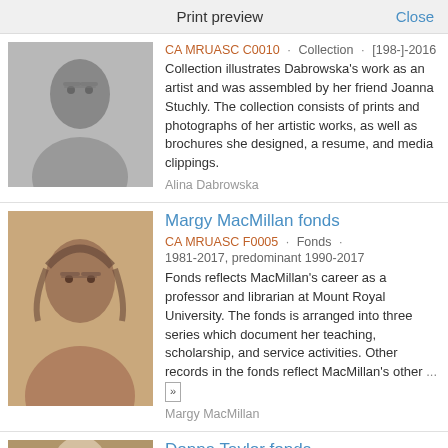Print preview    Close
[Figure (photo): Black and white portrait photo of Alina Dabrowska, a woman with glasses]
CA MRUASC C0010 · Collection · [198-]-2016
Collection illustrates Dabrowska's work as an artist and was assembled by her friend Joanna Stuchly. The collection consists of prints and photographs of her artistic works, as well as brochures she designed, a resume, and media clippings.
Alina Dabrowska
Margy MacMillan fonds
[Figure (photo): Color portrait photo of Margy MacMillan, a woman with glasses and curly hair]
CA MRUASC F0005 · Fonds ·
1981-2017, predominant 1990-2017
Fonds reflects MacMillan's career as a professor and librarian at Mount Royal University. The fonds is arranged into three series which document her teaching, scholarship, and service activities. Other records in the fonds reflect MacMillan's other ...
Margy MacMillan
Donna Taylor fonds
CA MRUASC F0037 · Fonds · 1986-2014
Fonds documents Taylor's career as a nursing faculty
[Figure (photo): Color portrait photo of Donna Taylor, an older woman with light hair]